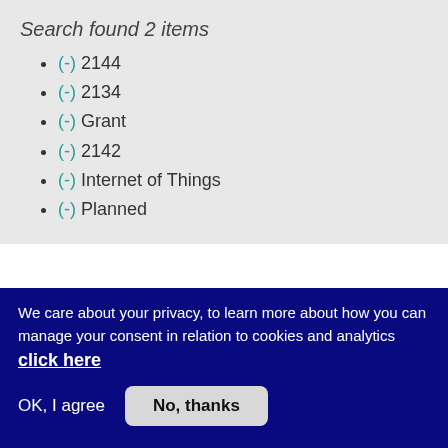Search found 2 items
(-) 2144
(-) 2134
(-) Grant
(-) 2142
(-) Internet of Things
(-) Planned
Filter by type
Filter by status
We care about your privacy, to learn more about how you can manage your consent in relation to cookies and analytics click here
OK, I agree
No, thanks